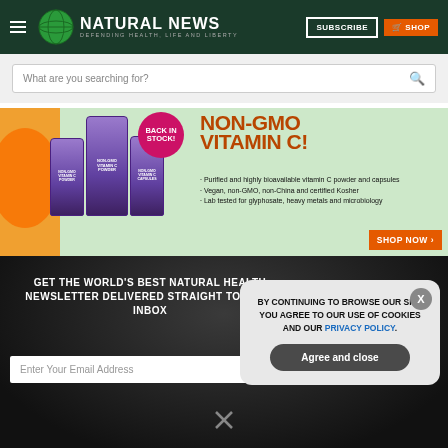[Figure (screenshot): Natural News website header with logo, hamburger menu, SUBSCRIBE button, and SHOP button on dark green background]
[Figure (screenshot): Search bar with placeholder text 'What are you searching for?' and magnifying glass icon]
[Figure (infographic): NON-GMO Vitamin C advertisement banner with product bottles, oranges, back in stock badge, bullet points and SHOP NOW button]
GET THE WORLD'S BEST NATURAL HEALTH NEWSLETTER DELIVERED STRAIGHT TO YOUR INBOX
[Figure (screenshot): Cookie consent modal overlay with text: BY CONTINUING TO BROWSE OUR SITE YOU AGREE TO OUR USE OF COOKIES AND OUR PRIVACY POLICY. with Agree and close button and X close button]